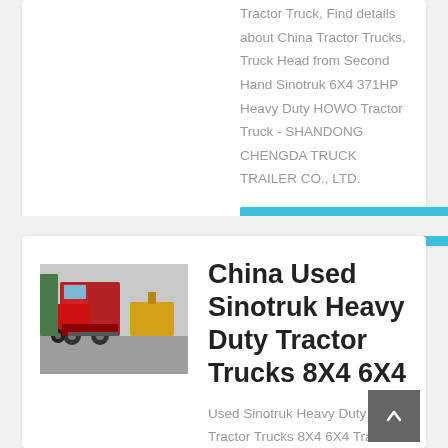Tractor Truck, Find details about China Tractor Trucks, Truck Head from Second Hand Sinotruk 6X4 371HP Heavy Duty HOWO Tractor Truck - SHANDONG CHENGDA TRUCK TRAILER CO., LTD.
learn More
[Figure (photo): Rear view of red Sinotruk heavy duty tractor trucks in a parking/yard area]
China Used Sinotruk Heavy Duty Tractor Trucks 8X4 6X4
Used Sinotruk Heavy Duty Tractor Trucks 8X4 6X4 Tractor Unit LHD Rhd Second Hand HOWO Chinese